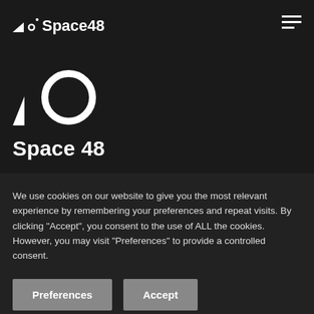[Figure (logo): Space48 logo with geometric triangle and circle marks, white on dark background]
Space 48
Working with global brands, Space 48 has international presence.
Global footprint, local values.
We use cookies on our website to give you the most relevant experience by remembering your preferences and repeat visits. By clicking "Accept", you consent to the use of ALL the cookies. However, you may visit "Preferences" to provide a controlled consent.
Preferences
Accept